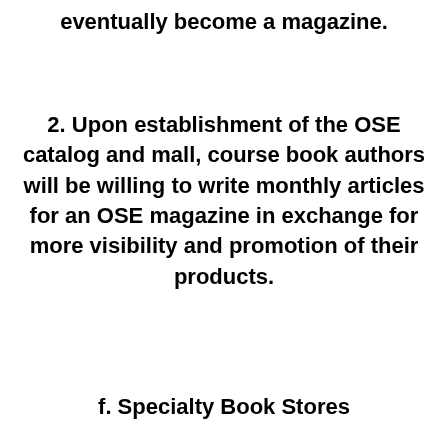eventually become a magazine.
2. Upon establishment of the OSE catalog and mall, course book authors will be willing to write monthly articles for an OSE magazine in exchange for more visibility and promotion of their products.
f. Specialty Book Stores